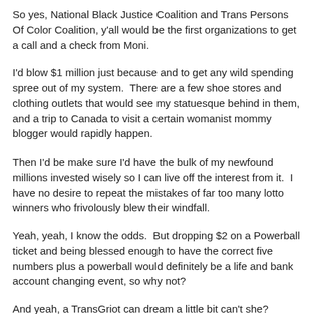So yes, National Black Justice Coalition and Trans Persons Of Color Coalition, y'all would be the first organizations to get a call and a check from Moni.
I'd blow $1 million just because and to get any wild spending spree out of my system.  There are a few shoe stores and clothing outlets that would see my statuesque behind in them, and a trip to Canada to visit a certain womanist mommy blogger would rapidly happen.
Then I'd be make sure I'd have the bulk of my newfound millions invested wisely so I can live off the interest from it.  I have no desire to repeat the mistakes of far too many lotto winners who frivolously blew their windfall.
Yeah, yeah, I know the odds.  But dropping $2 on a Powerball ticket and being blessed enough to have the correct five numbers plus a powerball would definitely be a life and bank account changing event, so why not?
And yeah, a TransGriot can dream a little bit can't she?